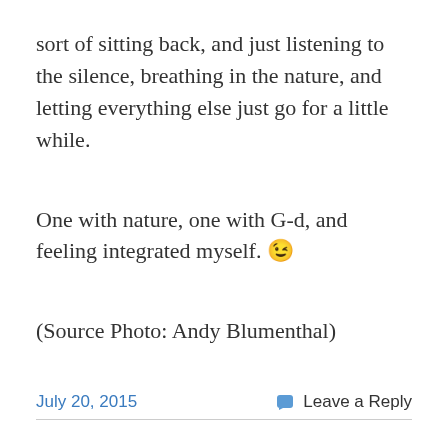sort of sitting back, and just listening to the silence, breathing in the nature, and letting everything else just go for a little while.
One with nature, one with G-d, and feeling integrated myself. 😉
(Source Photo: Andy Blumenthal)
July 20, 2015   Leave a Reply